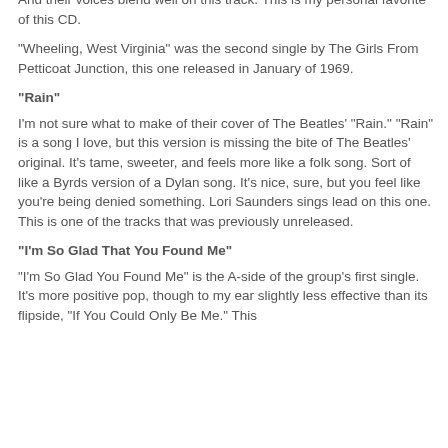And their voices blend well on this track. This is my personal favorite of this CD.
"Wheeling, West Virginia" was the second single by The Girls From Petticoat Junction, this one released in January of 1969.
"Rain"
I'm not sure what to make of their cover of The Beatles' "Rain." "Rain" is a song I love, but this version is missing the bite of The Beatles' original. It's tame, sweeter, and feels more like a folk song. Sort of like a Byrds version of a Dylan song. It's nice, sure, but you feel like you're being denied something. Lori Saunders sings lead on this one. This is one of the tracks that was previously unreleased.
"I'm So Glad That You Found Me"
"I'm So Glad You Found Me" is the A-side of the group's first single. It's more positive pop, though to my ear slightly less effective than its flipside, "If You Could Only Be Me." This